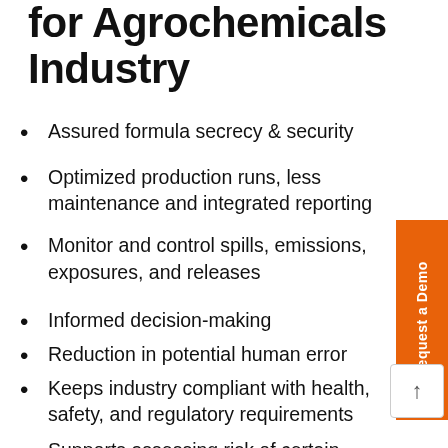for Agrochemicals Industry
Assured formula secrecy & security
Optimized production runs, less maintenance and integrated reporting
Monitor and control spills, emissions, exposures, and releases
Informed decision-making
Reduction in potential human error
Keeps industry compliant with health, safety, and regulatory requirements
Supports assessing risk of certain chemicals